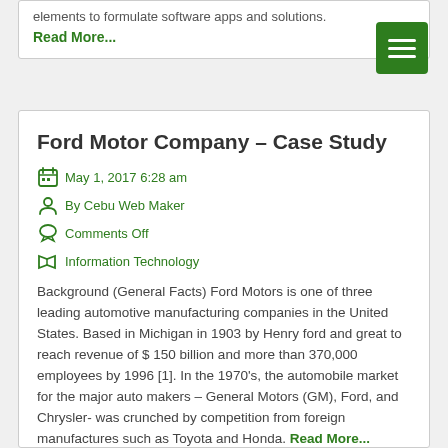elements to formulate software apps and solutions.
Read More...
Ford Motor Company – Case Study
May 1, 2017 6:28 am
By Cebu Web Maker
Comments Off
Information Technology
Background (General Facts) Ford Motors is one of three leading automotive manufacturing companies in the United States. Based in Michigan in 1903 by Henry ford and great to reach revenue of $ 150 billion and more than 370,000 employees by 1996 [1]. In the 1970's, the automobile market for the major auto makers – General Motors (GM), Ford, and Chrysler- was crunched by competition from foreign manufactures such as Toyota and Honda. Read More...